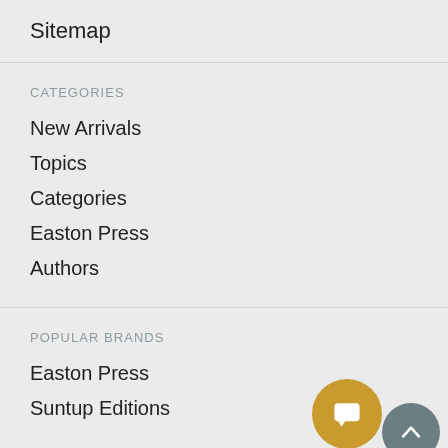Sitemap
CATEGORIES
New Arrivals
Topics
Categories
Easton Press
Authors
POPULAR BRANDS
Easton Press
Suntup Editions